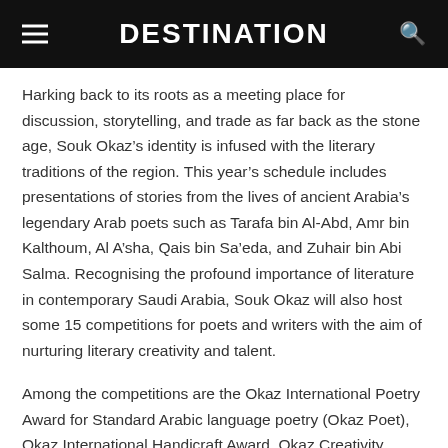DESTINATION
Harking back to its roots as a meeting place for discussion, storytelling, and trade as far back as the stone age, Souk Okaz’s identity is infused with the literary traditions of the region. This year’s schedule includes presentations of stories from the lives of ancient Arabia’s legendary Arab poets such as Tarafa bin Al-Abd, Amr bin Kalthoum, Al A’sha, Qais bin Sa’eda, and Zuhair bin Abi Salma. Recognising the profound importance of literature in contemporary Saudi Arabia, Souk Okaz will also host some 15 competitions for poets and writers with the aim of nurturing literary creativity and talent.
Among the competitions are the Okaz International Poetry Award for Standard Arabic language poetry (Okaz Poet), Okaz International Handicraft Award, Okaz Creativity Award, Okaz Photography Award, Young Okaz Poet Award, Okaz Folklore Art Award, Okaz Children Folk Art Award, Okaz Theatrics and